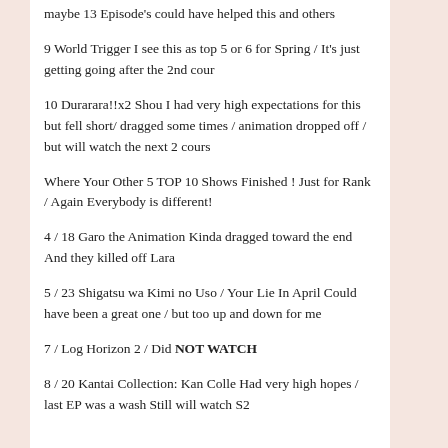maybe 13 Episode's could have helped this and others
9 World Trigger I see this as top 5 or 6 for Spring / It's just getting going after the 2nd cour
10 Durarara!!x2 Shou I had very high expectations for this but fell short/ dragged some times / animation dropped off / but will watch the next 2 cours
Where Your Other 5 TOP 10 Shows Finished ! Just for Rank / Again Everybody is different!
4 / 18 Garo the Animation Kinda dragged toward the end And they killed off Lara
5 / 23 Shigatsu wa Kimi no Uso / Your Lie In April Could have been a great one / but too up and down for me
7 / Log Horizon 2 / Did NOT WATCH
8 / 20 Kantai Collection: Kan Colle Had very high hopes / last EP was a wash Still will watch S2